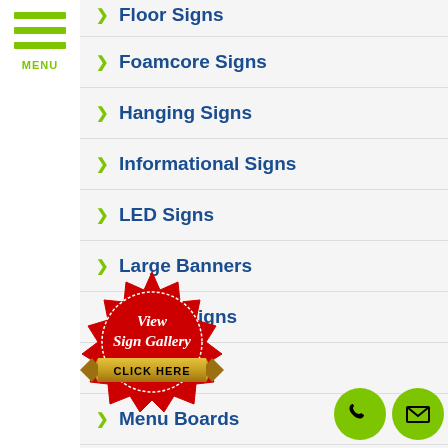[Figure (logo): Green hamburger menu icon with MENU label]
Floor Signs
Foamcore Signs
Hanging Signs
Informational Signs
LED Signs
Large Banners
Lighted Signs
Lobby Signs
Menu Boards
[Figure (illustration): Red badge seal with 'View Sign Gallery CLICK HERE' text and gold ribbon banner]
[Figure (illustration): Green circle phone button and green circle email/envelope button]